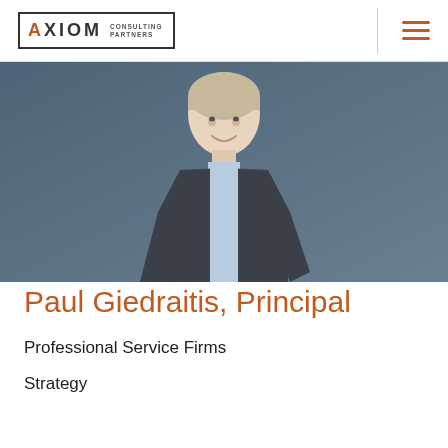[Figure (logo): Axiom Consulting Partners logo in a square border, with orange A and black XIOM lettering, followed by 'CONSULTING PARTNERS' small text]
[Figure (photo): Professional headshot of Paul Giedraitis, a man in a dark suit jacket and light blue shirt, smiling, against a steel blue background]
Paul Giedraitis, Principal
Professional Service Firms
Strategy